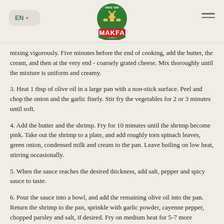MAKFA
mixing vigorously. Five minutes before the end of cooking, add the butter, the cream, and then at the very end - coarsely grated cheese. Mix thoroughly until the mixture is uniform and creamy.
3. Heat 1 tbsp of olive oil in a large pan with a non-stick surface. Peel and chop the onion and the garlic finely. Stir fry the vegetables for 2 or 3 minutes until soft.
4. Add the butter and the shrimp. Fry for 10 minutes until the shrimp become pink. Take out the shrimp to a plate, and add roughly torn spinach leaves, green onion, condensed milk and cream to the pan. Leave boiling on low heat, stirring occasionally.
5. When the sauce reaches the desired thickness, add salt, pepper and spicy sauce to taste.
6. Pour the sauce into a bowl, and add the remaining olive oil into the pan. Return the shrimp to the pan, sprinkle with garlic powder, cayenne pepper, chopped parsley and salt, if desired. Fry on medium heat for 5-7 more minutes.
7. Place the polenta on each plate, pour the sauce with shrimp on top.